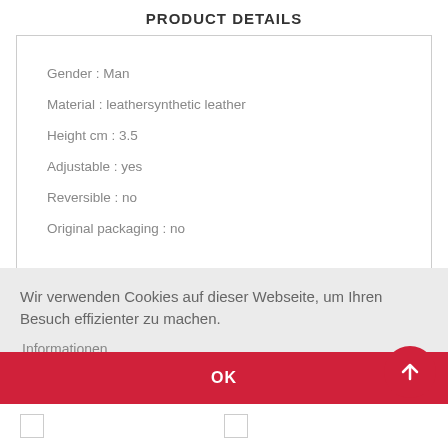PRODUCT DETAILS
Gender : Man
Material : leathersynthetic leather
Height cm : 3.5
Adjustable : yes
Reversible : no
Original packaging : no
Wir verwenden Cookies auf dieser Webseite, um Ihren Besuch effizienter zu machen.
Informationen
OK